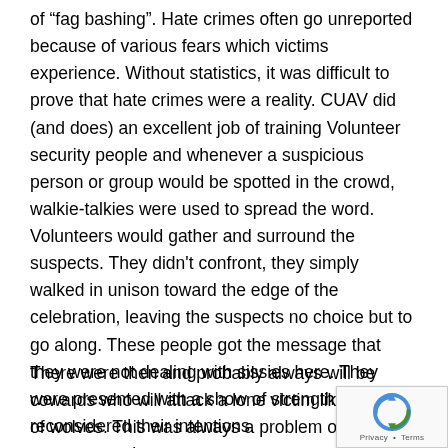of “fag bashing”. Hate crimes often go unreported because of various fears which victims experience. Without statistics, it was difficult to prove that hate crimes were a reality. CUAV did (and does) an excellent job of training Volunteer security people and whenever a suspicious person or group would be spotted in the crowd, walkie-talkies were used to spread the word. Volunteers would gather and surround the suspects. They didn't confront, they simply walked in unison toward the edge of the celebration, leaving the suspects no choice but to go along. These people got the message that they were not dealing with sissies here. They were presented with a show of strength and reconsidered their intentions.
There were then and probably always will be cowards who will attack a lone victim like a pack of wolves. This was always a problem on the dark streets near the